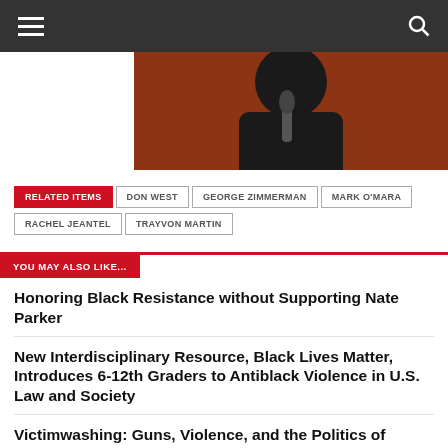[Figure (photo): A woman seated at a microphone in a courtroom or hearing setting, wearing a black shirt, photographed from mid-torso up against a wooden background.]
RELATED ITEMS | DON WEST | GEORGE ZIMMERMAN | MARK O'MARA | RACHEL JEANTEL | TRAYVON MARTIN
YOU MAY ALSO LIKE...
Honoring Black Resistance without Supporting Nate Parker
New Interdisciplinary Resource, Black Lives Matter, Introduces 6-12th Graders to Antiblack Violence in U.S. Law and Society
Victimwashing: Guns, Violence, and the Politics of Whose Lives Matter